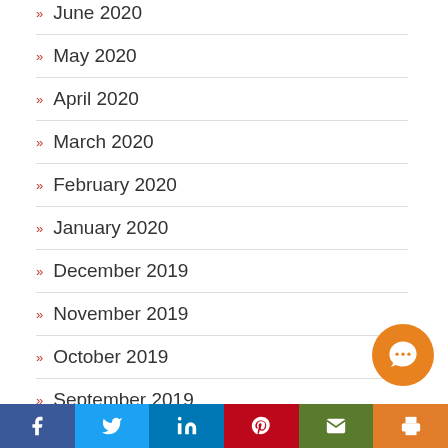June 2020
May 2020
April 2020
March 2020
February 2020
January 2020
December 2019
November 2019
October 2019
September 2019
August 2019
July 2019
May 2019